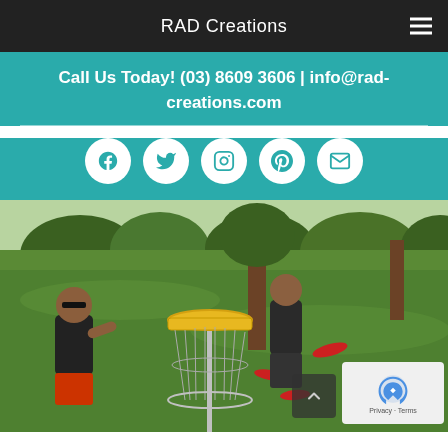RAD Creations
Call Us Today! (03) 8609 3606 | info@rad-creations.com
[Figure (screenshot): Social media icons row: Facebook, Twitter, Instagram, Pinterest, Email — white circles on teal background]
[Figure (photo): Family playing disc golf in a park. A yellow disc golf basket/target in the foreground with chains, several red flying discs in the air. Adults and children throwing frisbees on green grass with trees in the background.]